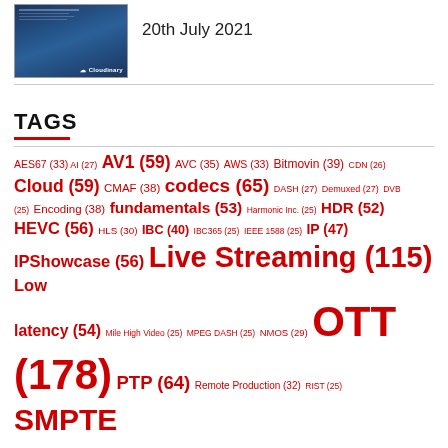[Figure (screenshot): Thumbnail image of a document with Cloudinary branding and blue tech background]
20th July 2021
TAGS
AES67 (33) AI (27) AV1 (59) AVC (35) AWS (33) Bitmovin (39) CDN (26) Cloud (59) CMAF (38) codecs (65) DASH (27) Demuxed (27) DVB (25) Encoding (38) fundamentals (53) Harmonic Inc. (25) HDR (52) HEVC (56) HLS (30) IBC (40) IBC365 (25) IEEE 1588 (25) IP (47) IPShowcase (56) Live Streaming (115) Low latency (54) Mile High Video (25) MPEG DASH (25) NMOS (29) OTT (178) PTP (64) Remote Production (32) RIST (25) SMPTE